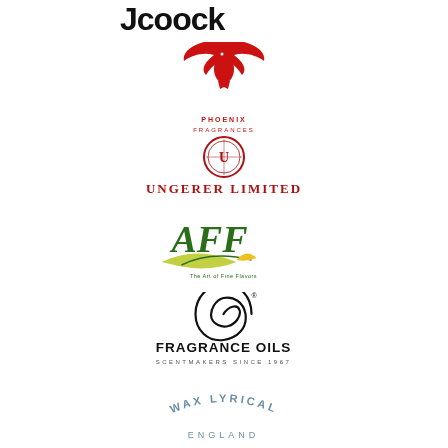[Figure (logo): Jcoock brand text logo in bold black font]
[Figure (logo): Phoenix Fragrances logo: red phoenix bird above text PHOENIX FRAGRANCES]
[Figure (logo): Ungerer Limited logo: circular emblem above red text UNGERER LIMITED]
[Figure (logo): AFF logo: green AFF letters with leaf/nature graphic and tagline The Art of Fine Flavors]
[Figure (logo): Fragrance Oils logo: black rose swirl graphic above text FRAGRANCE OILS SCENTMAKERS SINCE 1967]
[Figure (logo): Wax Lyrical England logo: grey-blue curved text WAX LYRICAL ENGLAND]